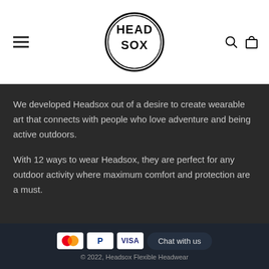[Figure (logo): HEAD SOX circular logo with bold serif text inside a black circle]
We developed Headsox out of a desire to create wearable art that connects with people who love adventure and being active outdoors.
With 12 ways to wear Headsox, they are perfect for any outdoor activity where maximum comfort and protection are a must.
[Figure (infographic): Payment icons: Mastercard, PayPal, Visa, and a Chat with us button]
© 2022, Headsox Flexible Headwear